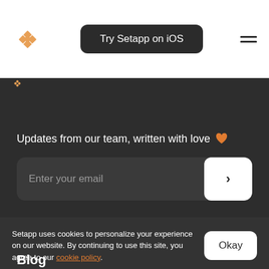Try Setapp on iOS
Updates from our team, written with love 🧡
Enter your email
Home
Setapp uses cookies to personalize your experience on our website. By continuing to use this site, you agree to our cookie policy.
Blog